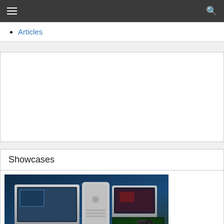Articles
[Figure (other): Advertisement placeholder box (empty white box)]
Showcases
[Figure (photo): AJA Streamlines 3D Workflow & Monitoring — showcase image showing Mac Pro computers, monitors, and a circuit board on a blue background]